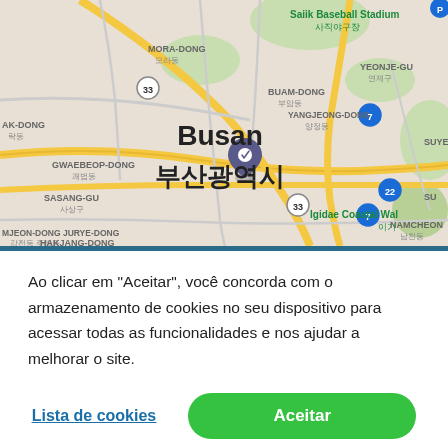[Figure (map): Google Maps screenshot showing Busan (부산광역시), South Korea. Visible neighborhoods and landmarks include Mora-dong, Buam-dong, Gwaebeop-dong, Sasang-gu, Gamjeon-dong, Jurye-dong, Hakjang-dong, Yangjoen-dong, Yeonje-gu, Namcheon, Igidae Coastal Walk, Saiik Baseball Stadium. Route numbers 7, 22, 33 visible. A location pin marker is shown near the center.]
Ao clicar em “Aceitar”, você concorda com o armazenamento de cookies no seu dispositivo para acessar todas as funcionalidades e nos ajudar a melhorar o site.
Lista de cookies
Aceitar